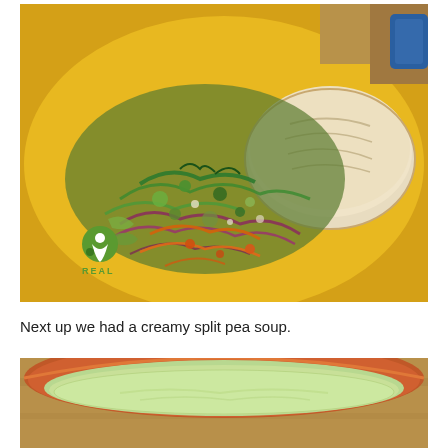[Figure (photo): A yellow plate with a colorful vegetable salad/slaw with shredded carrots, red cabbage, greens, and other vegetables, alongside a round white bread roll or rice cake. A green 'REAL' logo is visible in the bottom-left of the image.]
Next up we had a creamy split pea soup.
[Figure (photo): A terracotta/orange bowl partially visible, containing a creamy pale green split pea soup, sitting on a wooden surface.]